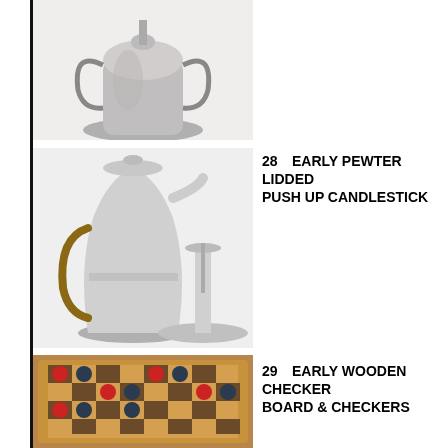[Figure (photo): Early pewter vessel/urn with handles, top portion cropped, sitting on white background]
[Figure (photo): Early pewter lidded pitcher/tankard with wicker-wrapped handle and a pewter push-up candlestick with saucer base]
28   EARLY PEWTER LIDDED PUSH UP CANDLESTICK
[Figure (photo): Early wooden checkerboard with red and dark blue/black wooden checkers arranged on the board]
29   EARLY WOODEN CHECKER BOARD & CHECKERS